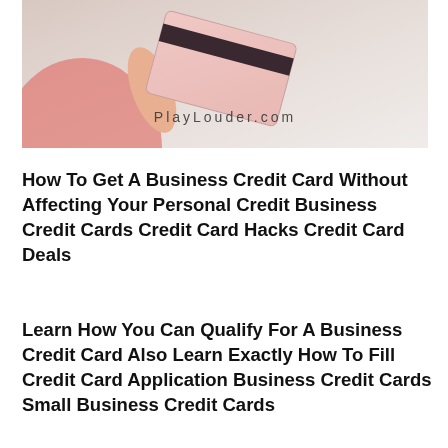[Figure (photo): A person holding up a pink credit card showing the magnetic stripe on the back. Watermark text 'PlayLouder.com' overlaid on the image.]
How To Get A Business Credit Card Without Affecting Your Personal Credit Business Credit Cards Credit Card Hacks Credit Card Deals
Learn How You Can Qualify For A Business Credit Card Also Learn Exactly How To Fill Credit Card Application Business Credit Cards Small Business Credit Cards